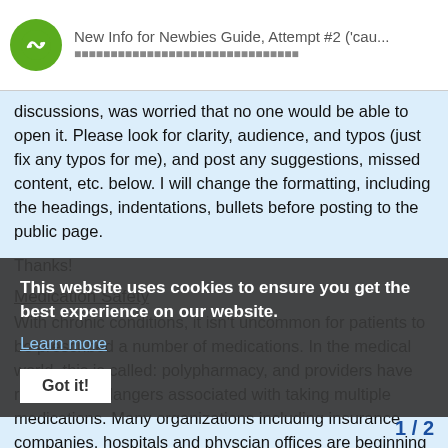New Info for Newbies Guide, Attempt #2 ('cau...
discussions, was worried that no one would be able to open it. Please look for clarity, audience, and typos (just fix any typos for me), and post any suggestions, missed content, etc. below. I will change the formatting, including the headings, indentations, bullets before posting to the public page.
Thanks!
Medication Safety
With chronic conditions, it isn't uncommon for patients to be prescribed a number of medications. In the medical world, this is called: polypharmacy, and providers have realized the dangers associated with taking multiple medications. Many organizations including insurance companies, hospitals and physcian offices are beginning to take steps to help reduce the potential risks associated with polypharmacy. Below, you will find steps that you as a patient can take to help reduce these risks. Certainly in your time on LwF the phrase, "Be your own best advocate"
This website uses cookies to ensure you get the best experience on our website. Learn more Got it!
1 / 2